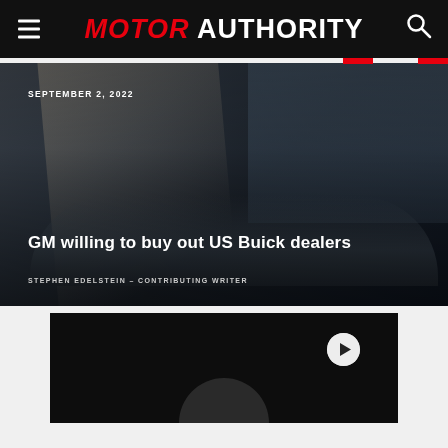MOTOR AUTHORITY
SEPTEMBER 2, 2022
GM willing to buy out US Buick dealers
STEPHEN EDELSTEIN - CONTRIBUTING WRITER
[Figure (photo): Video thumbnail showing a dark background with a play button icon in upper right and a curved arc shape at the bottom center]
[Figure (photo): Hero image of a silver/grey futuristic concept sedan (Buick) in front of a modern glass building with diagonal geometric design element overlay]